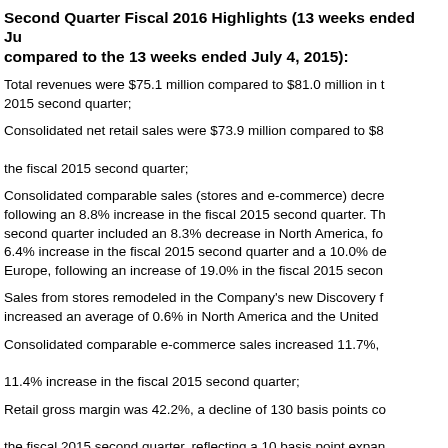Second Quarter Fiscal 2016 Highlights (13 weeks ended July 2, 2016 compared to the 13 weeks ended July 4, 2015):
Total revenues were $75.1 million compared to $81.0 million in the 2015 second quarter;
Consolidated net retail sales were $73.9 million compared to $80.0 million in the fiscal 2015 second quarter;
Consolidated comparable sales (stores and e-commerce) decreased following an 8.8% increase in the fiscal 2015 second quarter. The second quarter included an 8.3% decrease in North America, following a 6.4% increase in the fiscal 2015 second quarter and a 10.0% decrease in Europe, following an increase of 19.0% in the fiscal 2015 second quarter;
Sales from stores remodeled in the Company's new Discovery format increased an average of 0.6% in North America and the United Kingdom;
Consolidated comparable e-commerce sales increased 11.7%, following an 11.4% increase in the fiscal 2015 second quarter;
Retail gross margin was 42.2%, a decline of 130 basis points compared to the fiscal 2015 second quarter, reflecting a 10 basis point expansion in merchandise margin offset by deleverage of fixed occupancy costs;
Selling, general and administrative expenses (“SG&A”) were $30 million, 40.8% of total revenues, compared to $35.7 million and 44.1% of total revenues;